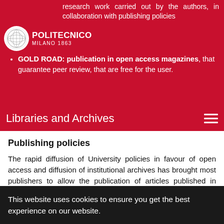research work carried out by the authors, in collaboration with publishing policies
GOLD ROAD: publication in open access magazines, that guarantee peer review, that are free for the user.
Libraries and Archives
Publishing policies
The rapid diffusion of University policies in favour of open access and diffusion of institutional archives has brought most publishers to allow the publication of articles published in institutional repositories (Green OA).
This website uses cookies to ensure you get the best experience on our website.
GOT IT!